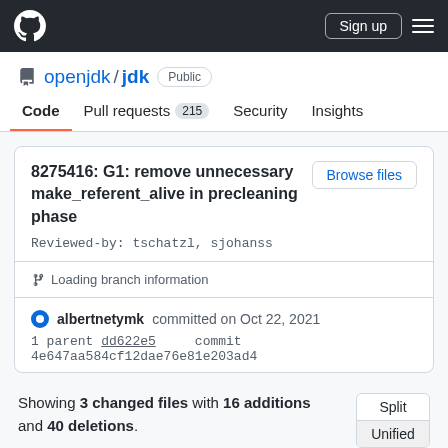GitHub navigation bar with Sign up button
openjdk / jdk Public
Code | Pull requests 215 | Security | Insights
8275416: G1: remove unnecessary make_referent_alive in precleaning phase
Reviewed-by: tschatzl, sjohanss
Loading branch information
albernetymk committed on Oct 22, 2021
1 parent dd622e5   commit 4e647aa584cf12dae76e81e203ad4
Showing 3 changed files with 16 additions and 40 deletions.